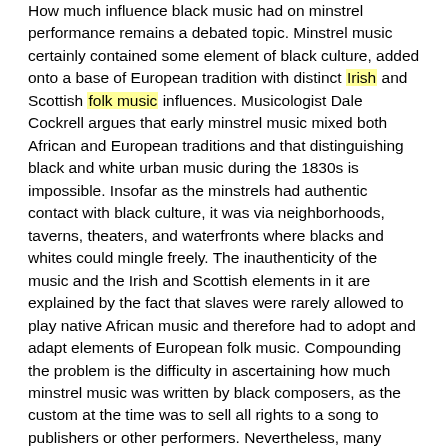How much influence black music had on minstrel performance remains a debated topic. Minstrel music certainly contained some element of black culture, added onto a base of European tradition with distinct Irish and Scottish folk music influences. Musicologist Dale Cockrell argues that early minstrel music mixed both African and European traditions and that distinguishing black and white urban music during the 1830s is impossible. Insofar as the minstrels had authentic contact with black culture, it was via neighborhoods, taverns, theaters, and waterfronts where blacks and whites could mingle freely. The inauthenticity of the music and the Irish and Scottish elements in it are explained by the fact that slaves were rarely allowed to play native African music and therefore had to adopt and adapt elements of European folk music. Compounding the problem is the difficulty in ascertaining how much minstrel music was written by black composers, as the custom at the time was to sell all rights to a song to publishers or other performers. Nevertheless, many troupes claimed to have carried out more serious "fieldwork".
Early blackface songs often consisted of unrelated verses strung together by a common chorus. In this pre-Emmett minstrelsy, the music "jangled the nerves of those who believed in music that was proper, respectable, polished, and harmonic, with recognizable melodies." It was thus a juxtaposition of "vigorous earth-slapping footwork of black dances . . . with the Irish lineaments of blackface jigs and reels." The minstrel show texts sometimes even mixed black lore, such as stories about talking animals or slave tricksters, with humor from the region southwest of the